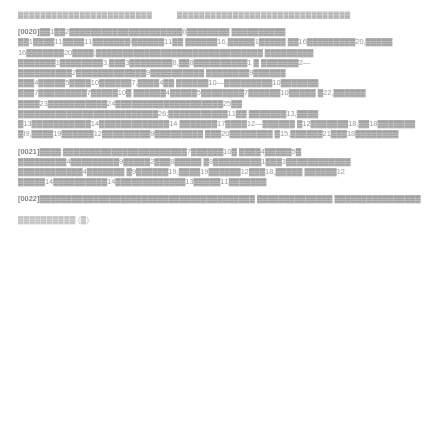▓▓▓▓▓▓▓▓▓▓▓▓▓▓▓▓▓▓▓▓▓▓▓▓ ▓▓▓▓▓▓▓▓▓▓▓▓▓▓▓▓▓▓▓▓▓▓▓▓▓▓▓▓▓▓▓
[0020]▓▓1▓▓2▓▓▓▓▓▓▓▓▓▓▓▓▓▓▓▓▓▓▓▓▓6▓▓▓▓▓▓▓▓ ▓▓▓▓▓▓▓▓▓▓▓▓1▓▓▓▓11▓▓▓▓11▓▓▓▓▓▓▓i▓▓▓▓▓▓11▓▓ ▓▓▓▓▓▓16,▓▓▓▓▓1▓▓▓▓▓▓16▓▓▓▓▓▓▓▓▓20,▓▓▓▓▓ 16▓▓▓▓▓▓▓20▓▓▓▓;▓▓▓▓▓▓▓▓▓▓▓▓▓▓▓▓▓▓▓▓▓▓▓ ▓▓▓▓▓▓▓▓ ▓▓▓▓▓▓▓1▓▓▓▓▓▓▓▓3,▓▓▓3▓▓▓▓▓▓▓▓8,▓▓8▓▓▓▓▓▓▓▓▓▓1 ▓▓▓▓▓▓▓2—▓▓▓▓▓▓▓▓▓▓2▓▓▓▓▓▓▓▓▓▓▓▓▓9▓▓▓▓▓▓▓▓▓▓ ▓▓▓▓▓▓▓▓9▓▓▓▓▓▓▓▓▓4▓▓▓▓▓5▓▓▓▓10▓▓▓▓▓▓7,▓▓▓▓4▓▓ ▓▓▓▓▓▓10—▓▓▓▓▓▓▓▓▓10▓▓▓▓▓▓▓▓▓7▓▓▓▓▓▓▓▓▓7▓▓▓▓▓10▓ ▓▓▓▓▓▓4▓▓▓▓▓5▓▓▓▓▓▓▓▓7▓▓▓▓▓▓10▓▓▓▓▓▓▓22,▓▓▓▓▓▓ ▓▓▓▓23▓▓▓▓▓▓▓▓▓▓▓24▓▓▓▓▓▓▓▓▓▓▓▓▓▓▓▓▓▓▓▓25▓▓▓▓▓▓▓▓▓▓▓▓▓▓▓▓▓▓▓▓▓▓▓▓▓26;▓▓▓▓▓▓▓▓▓▓▓11▓▓ ▓▓▓▓▓▓▓13,▓▓▓▓▓13▓▓▓▓▓▓▓▓▓▓▓14▓▓▓▓▓▓▓▓▓▓▓▓▓14 ▓▓▓▓▓▓▓17▓▓▓▓12—▓▓▓▓▓▓▓▓12▓▓▓▓▓▓▓18,▓▓18▓▓▓▓▓▓▓ ▓I9,▓▓▓▓19▓▓▓▓▓▓12▓▓▓▓▓▓▓▓▓9▓▓▓▓▓▓▓▓▓▓▓▓20▓▓▓▓▓▓▓▓ ▓15,▓▓▓▓▓▓21▓▓▓18▓▓▓▓▓▓▓▓
[0021]▓▓▓▓:▓▓▓▓▓▓▓▓▓▓▓▓▓▓▓▓▓▓▓▓▓▓▓7▓▓▓▓▓▓10▓ ▓▓▓▓4▓▓▓▓▓5▓▓▓▓▓▓▓▓▓▓4▓▓▓▓▓▓▓▓▓9▓▓▓▓▓2▓▓▓8▓▓▓▓▓ ▓8▓▓▓▓▓▓▓▓▓1▓▓▓3▓▓▓▓▓▓▓▓▓▓▓▓▓▓▓▓▓▓▓▓▓▓4▓▓▓▓▓▓▓ ▓9▓▓▓▓▓▓19,▓▓▓▓19▓▓▓▓▓▓12▓▓▓18,▓▓▓▓▓▓▓▓▓▓12 ▓▓▓▓▓14▓▓▓▓▓▓▓▓▓▓14▓▓▓▓▓▓▓▓▓▓▓▓▓13▓▓▓▓▓11▓▓▓▓▓▓▓
[0022]▓▓▓▓▓▓▓▓▓▓▓▓▓▓▓▓▓▓▓▓▓▓▓▓▓▓▓▓▓▓▓▓▓▓▓▓▓▓▓▓ ▓▓▓▓▓▓▓▓▓▓▓▓▓▓▓▓▓▓▓▓▓▓▓▓▓▓▓▓▓▓
▓▓▓▓▓▓▓▓▓▓ (▓)